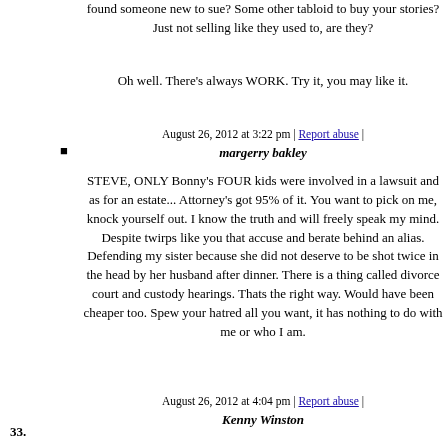found someone new to sue? Some other tabloid to buy your stories? Just not selling like they used to, are they?
Oh well. There's always WORK. Try it, you may like it.
August 26, 2012 at 3:22 pm | Report abuse | margerry bakley
STEVE, ONLY Bonny's FOUR kids were involved in a lawsuit and as for an estate... Attorney's got 95% of it. You want to pick on me, knock yourself out. I know the truth and will freely speak my mind. Despite twirps like you that accuse and berate behind an alias. Defending my sister because she did not deserve to be shot twice in the head by her husband after dinner. There is a thing called divorce court and custody hearings. Thats the right way. Would have been cheaper too. Spew your hatred all you want, it has nothing to do with me or who I am.
August 26, 2012 at 4:04 pm | Report abuse | Kenny Winston
33.